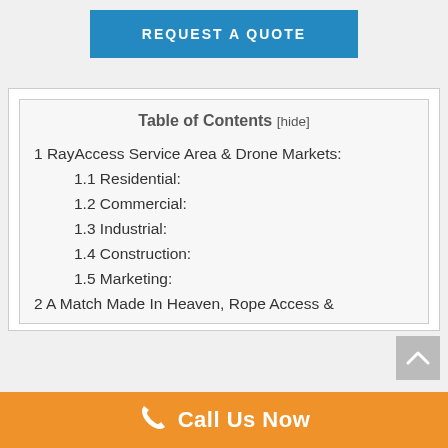[Figure (other): Blue 'REQUEST A QUOTE' button]
Table of Contents [hide]
1 RayAccess Service Area & Drone Markets:
1.1 Residential:
1.2 Commercial:
1.3 Industrial:
1.4 Construction:
1.5 Marketing:
2 A Match Made In Heaven, Rope Access &
Call Us Now